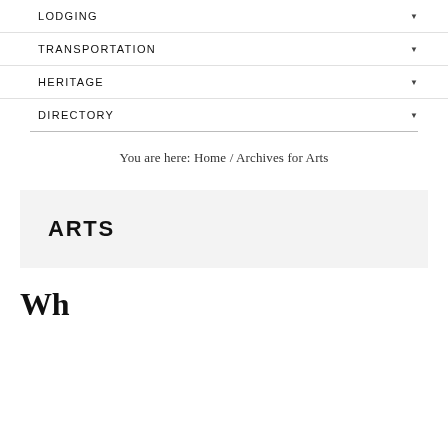LODGING
TRANSPORTATION
HERITAGE
DIRECTORY
You are here: Home / Archives for Arts
ARTS
Wh...